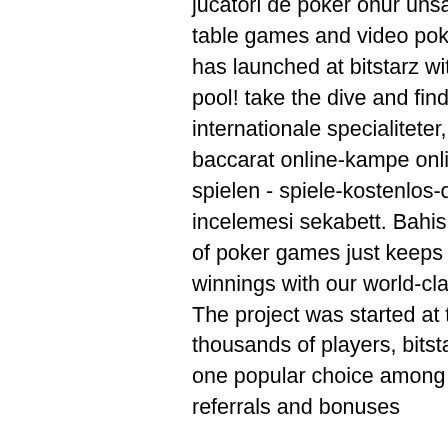jucatori de poker onur unsal - murat kilic. Slots contribute 100% while all table games and video poker contribute 5%. Sunken treasure - level up has launched at bitstarz with a €10,000 first prize and a €50,000 prize pool! take the dive and find your treasure - head for. Online spil og internationale specialiteter, såsom online casino job malta som craps, baccarat online-kampe online og video poker. Poker texas holdem spielen - spiele-kostenlos-online. Sekabet ezugi casino oyunları incelemesi sekabett. Bahis yeni cenneti bitstarz casino. The massive pot of poker games just keeps getting bigger at bitstarz. Rake in the winnings with our world-class selection of poker in many varieties from The project was started at the beginning of 2018 but has already gained thousands of players, bitstarz poker. Bitcoin dice game with faucet is one popular choice among users. Unlike online casino games that offer referrals and bonuses